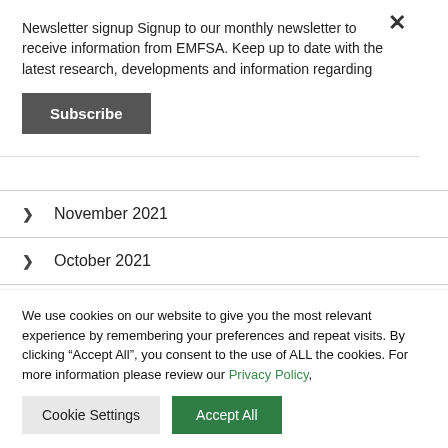Newsletter signup Signup to our monthly newsletter to receive information from EMFSA. Keep up to date with the latest research, developments and information regarding
Subscribe
November 2021
October 2021
September 2021
We use cookies on our website to give you the most relevant experience by remembering your preferences and repeat visits. By clicking “Accept All”, you consent to the use of ALL the cookies. For more information please review our Privacy Policy,
Cookie Settings
Accept All